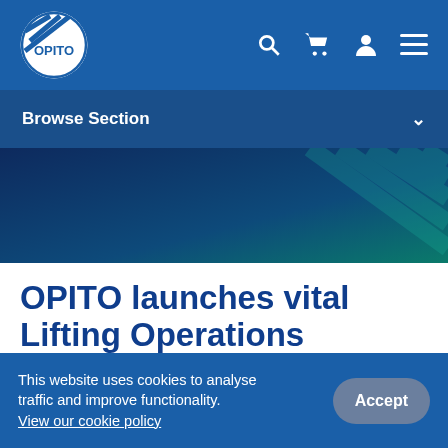[Figure (logo): OPITO logo - white circle with diagonal stripe lines and OPITO text on blue navigation bar]
Browse Section
[Figure (illustration): Hero banner with dark blue to teal gradient background with diagonal stripe pattern on right side]
OPITO launches vital Lifting Operations Standard for the wind
This website uses cookies to analyse traffic and improve functionality. View our cookie policy